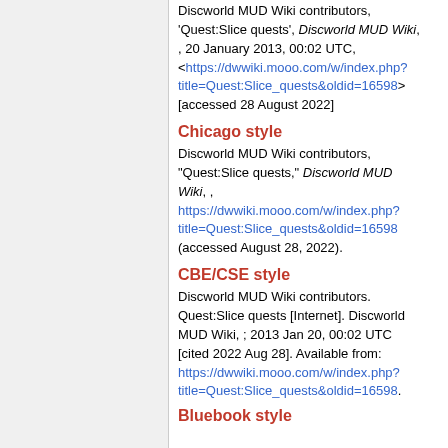Discworld MUD Wiki contributors, 'Quest:Slice quests', Discworld MUD Wiki, , 20 January 2013, 00:02 UTC, <https://dwwiki.mooo.com/w/index.php?title=Quest:Slice_quests&oldid=16598> [accessed 28 August 2022]
Chicago style
Discworld MUD Wiki contributors, "Quest:Slice quests," Discworld MUD Wiki, , https://dwwiki.mooo.com/w/index.php?title=Quest:Slice_quests&oldid=16598 (accessed August 28, 2022).
CBE/CSE style
Discworld MUD Wiki contributors. Quest:Slice quests [Internet]. Discworld MUD Wiki, ; 2013 Jan 20, 00:02 UTC [cited 2022 Aug 28]. Available from: https://dwwiki.mooo.com/w/index.php?title=Quest:Slice_quests&oldid=16598.
Bluebook style